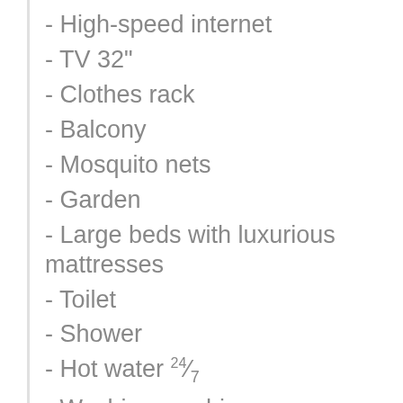- High-speed internet
- TV 32"
- Clothes rack
- Balcony
- Mosquito nets
- Garden
- Large beds with luxurious mattresses
- Toilet
- Shower
- Hot water 24/7
- Washing machine
- Iron
- Equipped kitchen
- Toaster
- Kettle
- Coffee maker
- Bla...